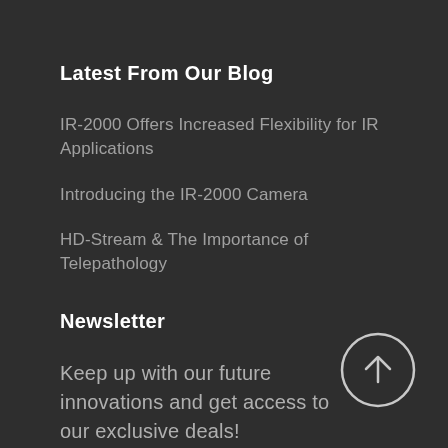Latest From Our Blog
IR-2000 Offers Increased Flexibility for IR Applications
Introducing the IR-2000 Camera
HD-Stream & The Importance of Telepathology
Newsletter
Keep up with our future innovations and get access to our exclusive deals!
[Figure (illustration): Circle with upward arrow icon (scroll to top button)]